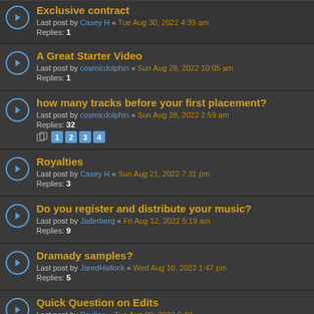Exclusive contract
Last post by Casey H « Tue Aug 30, 2022 4:39 am
Replies: 1
A Great Starter Video
Last post by cosmicdolphin « Sun Aug 28, 2022 10:05 am
Replies: 1
how many tracks before your first placement?
Last post by cosmicdolphin « Sun Aug 28, 2022 2:59 am
Replies: 32
Pages: 1 2 3 4
Royalties
Last post by Casey H « Sun Aug 21, 2022 7:31 pm
Replies: 3
Do you register and distribute your music?
Last post by Jaderberg « Fri Aug 12, 2022 5:19 am
Replies: 9
Dramady samples?
Last post by JaredHallock « Wed Aug 10, 2022 1:47 pm
Replies: 5
Quick Question on Edits
Last post by ...